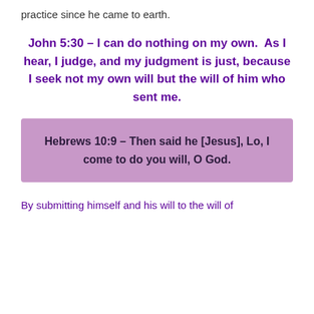practice since he came to earth.
John 5:30 – I can do nothing on my own.  As I hear, I judge, and my judgment is just, because I seek not my own will but the will of him who sent me.
Hebrews 10:9 – Then said he [Jesus], Lo, I come to do you will, O God.
By submitting himself and his will to the will of